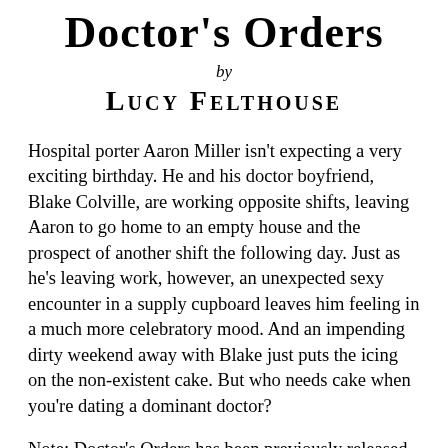Doctor's Orders
by
Lucy Felthouse
Hospital porter Aaron Miller isn't expecting a very exciting birthday. He and his doctor boyfriend, Blake Colville, are working opposite shifts, leaving Aaron to go home to an empty house and the prospect of another shift the following day. Just as he's leaving work, however, an unexpected sexy encounter in a supply cupboard leaves him feeling in a much more celebratory mood. And an impending dirty weekend away with Blake just puts the icing on the non-existent cake. But who needs cake when you're dating a dominant doctor?
Note: Doctor's Orders has been previously released